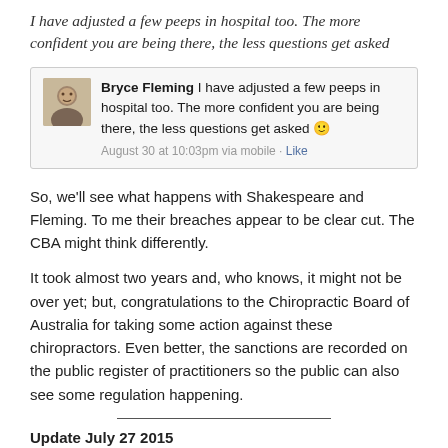I have adjusted a few peeps in hospital too. The more confident you are being there, the less questions get asked
[Figure (screenshot): Facebook post by Bryce Fleming: 'I have adjusted a few peeps in hospital too. The more confident you are being there, the less questions get asked :) August 30 at 10:03pm via mobile · Like']
So, we'll see what happens with Shakespeare and Fleming. To me their breaches appear to be clear cut. The CBA might think differently.
It took almost two years and, who knows, it might not be over yet; but, congratulations to the Chiropractic Board of Australia for taking some action against these chiropractors. Even better, the sanctions are recorded on the public register of practitioners so the public can also see some regulation happening.
Update July 27 2015
Article – including audio – from ABC Radio's PM program. Elise Worthington reporting:
Peak body for chiropractors to review membership obligations after